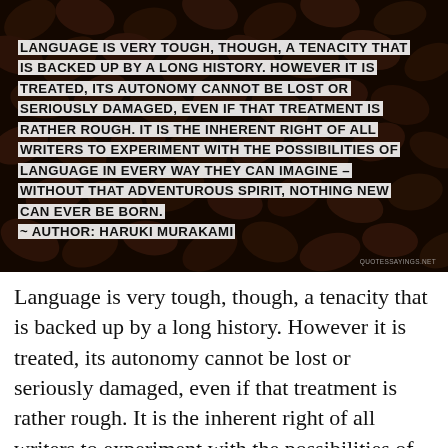[Figure (photo): Dark background image of coffee beans with white semi-transparent text overlay showing a Haruki Murakami quote about language in bold uppercase letters.]
Language is very tough, though, a tenacity that is backed up by a long history. However it is treated, its autonomy cannot be lost or seriously damaged, even if that treatment is rather rough. It is the inherent right of all writers to experiment with the possibilities of language in every way they can imagine - without that